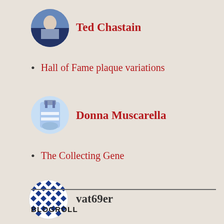[Figure (photo): Circular avatar photo of a baseball player]
Ted Chastain
Hall of Fame plaque variations
[Figure (photo): Circular avatar photo of a trophy or award]
Donna Muscarella
The Collecting Gene
[Figure (illustration): Circular avatar with blue and white quilt-like geometric pattern]
vat69er
1954: The Year of the Regional
BLOGROLL